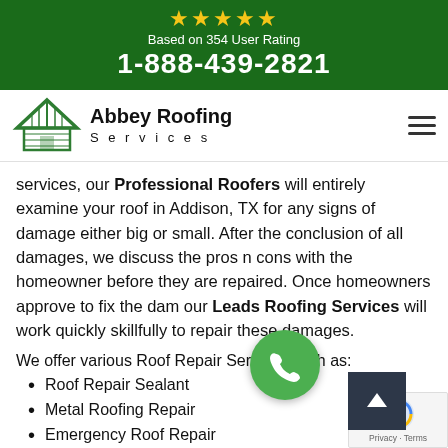★★★★★ Based on 354 User Rating 1-888-439-2821
[Figure (logo): Abbey Roofing Services logo with green house/roof icon]
services, our Professional Roofers will entirely examine your roof in Addison, TX for any signs of damage either big or small. After the conclusion of all damages, we discuss the pros n cons with the homeowner before they are repaired. Once homeowners approve to fix the dam our Leads Roofing Services will work quickly and skillfully to repair these damages.
We offer various Roof Repair Services such as:
Roof Repair Sealant
Metal Roofing Repair
Emergency Roof Repair